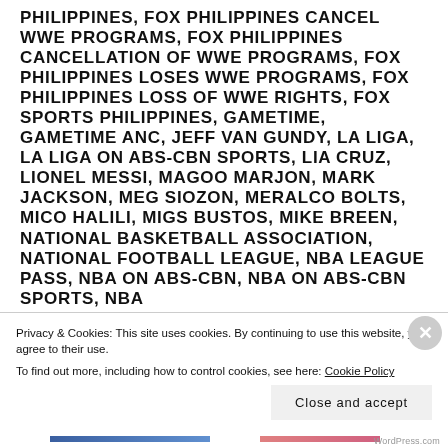PHILIPPINES, FOX PHILIPPINES CANCEL WWE PROGRAMS, FOX PHILIPPINES CANCELLATION OF WWE PROGRAMS, FOX PHILIPPINES LOSES WWE PROGRAMS, FOX PHILIPPINES LOSS OF WWE RIGHTS, FOX SPORTS PHILIPPINES, GAMETIME, GAMETIME ANC, JEFF VAN GUNDY, LA LIGA, LA LIGA ON ABS-CBN SPORTS, LIA CRUZ, LIONEL MESSI, MAGOO MARJON, MARK JACKSON, MEG SIOZON, MERALCO BOLTS, MICO HALILI, MIGS BUSTOS, MIKE BREEN, NATIONAL BASKETBALL ASSOCIATION, NATIONAL FOOTBALL LEAGUE, NBA LEAGUE PASS, NBA ON ABS-CBN, NBA ON ABS-CBN SPORTS, NBA PREMIUM, NBA ON ABS-CBN...
Privacy & Cookies: This site uses cookies. By continuing to use this website, you agree to their use.
To find out more, including how to control cookies, see here: Cookie Policy
Close and accept